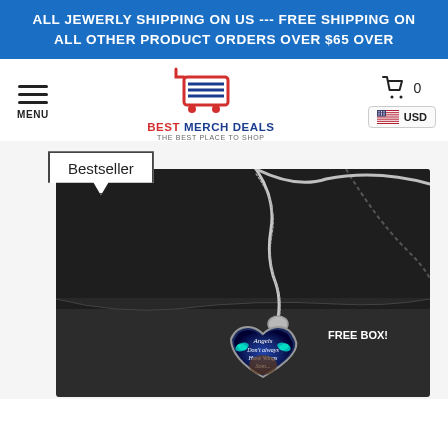ALL JEWERLY SHIPPING ON US --- FREE SHIPPING ON ALL OTHER PRODUCT ORDERS OVER $65 OVER
[Figure (logo): Best Merch Deals shopping cart logo with red cart and blue lines, text BEST MERCH DEALS, THE BEST PLACE TO SHOP]
MENU
0
USD
Bestseller
[Figure (photo): Heart-shaped pendant necklace with silver snake chain on a dark leather jewelry box. The pendant features a blue galaxy background with butterflies and text reading 'Angels Don't always Have Wings Som...' with a dog image. Text on box reads FREE BOX!]